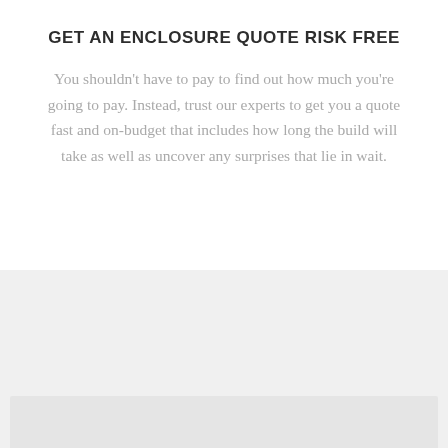GET AN ENCLOSURE QUOTE RISK FREE
You shouldn't have to pay to find out how much you're going to pay. Instead, trust our experts to get you a quote fast and on-budget that includes how long the build will take as well as uncover any surprises that lie in wait.